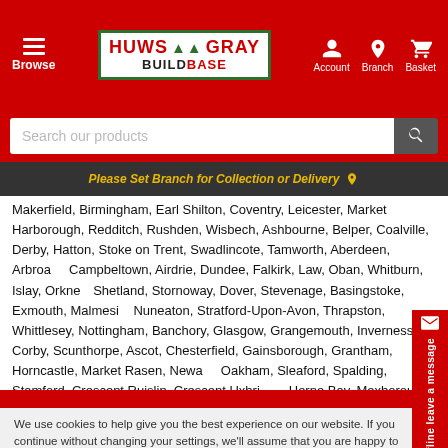Huws Gray Buildbase — Browse | Account | Branch | Basket
Search our products
Please Set Branch for Collection or Delivery
Makerfield, Birmingham, Earl Shilton, Coventry, Leicester, Market Harborough, Redditch, Rushden, Wisbech, Ashbourne, Belper, Coalville, Derby, Hatton, Stoke on Trent, Swadlincote, Tamworth, Aberdeen, Arbroath, Campbeltown, Airdrie, Dundee, Falkirk, Law, Oban, Whitburn, Islay, Orkney, Shetland, Stornoway, Dover, Stevenage, Basingstoke, Exmouth, Malmesbury, Nuneaton, Stratford-Upon-Avon, Thrapston, Whittlesey, Nottingham, Banchory, Glasgow, Grangemouth, Inverness, Corby, Scunthorpe, Ascot, Chesterfield, Gainsborough, Grantham, Horncastle, Market Rasen, Newark, Oakham, Sleaford, Spalding, Stamford, Crescent Ruislip, Crescent Uxbridge, Herne Bay, Mexborough, Grimsby, Boston, Hykeham, Louth, Spilsby, Alford, Skegness, Lincoln, Kenilworth, Aylesford, York, Sutton in Ashfield, Wollensborough, Cannington, Epsom, Kilmarnock.
We use cookies to help give you the best experience on our website. If you continue without changing your settings, we'll assume that you are happy to receive all cookies on the website. However, you can read our Cookie Policy here.
Accept and Continue